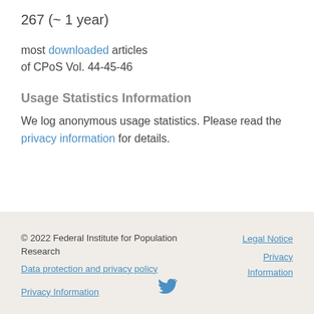267 (~ 1 year)
most downloaded articles of CPoS Vol. 44-45-46
Usage Statistics Information
We log anonymous usage statistics. Please read the privacy information for details.
© 2022 Federal Institute for Population Research   Legal Notice   Data protection and privacy policy   Privacy Information